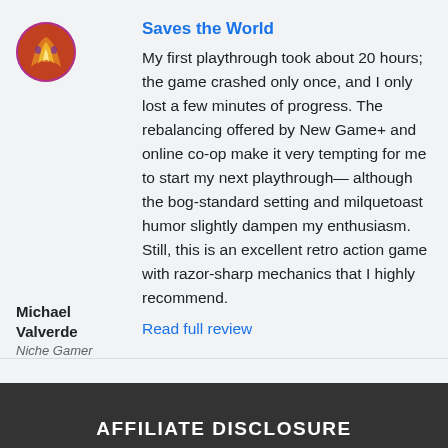[Figure (illustration): Circular avatar/game cover art with colorful illustration showing fire/fantasy theme]
Saves the World
My first playthrough took about 20 hours; the game crashed only once, and I only lost a few minutes of progress. The rebalancing offered by New Game+ and online co-op make it very tempting for me to start my next playthrough— although the bog-standard setting and milquetoast humor slightly dampen my enthusiasm. Still, this is an excellent retro action game with razor-sharp mechanics that I highly recommend.
Read full review
Michael Valverde
Niche Gamer
AFFILIATE DISCLOSURE